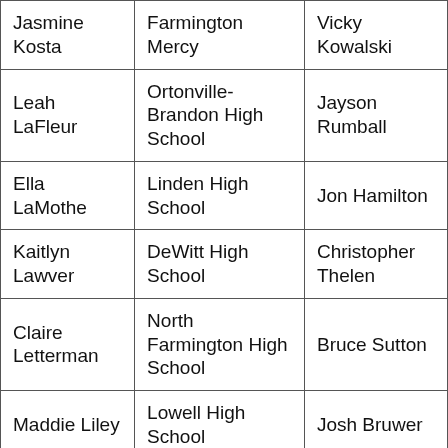| Jasmine Kosta | Farmington Mercy | Vicky Kowalski |
| Leah LaFleur | Ortonville-Brandon High School | Jayson Rumball |
| Ella LaMothe | Linden High School | Jon Hamilton |
| Kaitlyn Lawver | DeWitt High School | Christopher Thelen |
| Claire Letterman | North Farmington High School | Bruce Sutton |
| Maddie Liley | Lowell High School | Josh Bruwer |
| Ezma Machan | Coldwater | John Petzko |
| Ella Miller | East Lansing High School | Bob Filter |
| Madi Miller | East Lansing High School | Bob Filter |
| Lily Miller | Mona Shores High School | Britni Gielow |